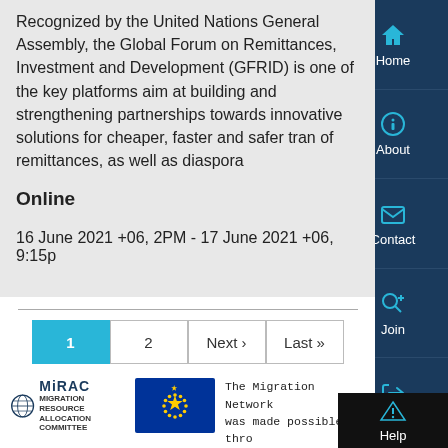Recognized by the United Nations General Assembly, the Global Forum on Remittances, Investment and Development (GFRID) is one of the key platforms aimed at building and strengthening partnerships towards innovative solutions for cheaper, faster and safer transfer of remittances, as well as diaspora
Online
16 June 2021 +06, 2PM - 17 June 2021 +06, 9:15p
[Figure (screenshot): Pagination bar with pages: 1 (active/highlighted in blue), 2, Next ›, Last »]
[Figure (logo): MiRAC - Migration Resource Allocation Committee logo with globe icon]
[Figure (logo): European Union flag logo - blue background with yellow stars in circle]
The Migration Network was made possible thro unearmarked funding g to the International Organization for Migra (IOM) and internally all the...